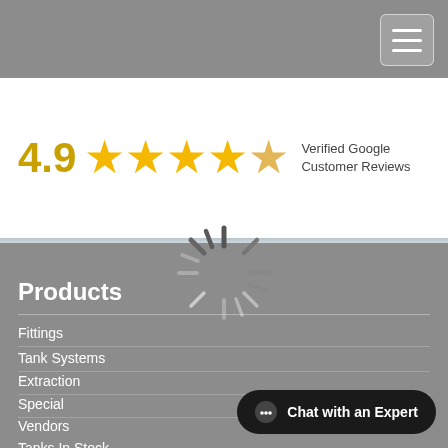[Figure (screenshot): Hamburger menu button in top right corner of header bar]
[Figure (infographic): 4.9 star rating with gold stars and 'Verified Google Customer Reviews' text]
[Figure (other): Loading spinner graphic centered over gray footer section]
Products
Fittings
Tank Systems
Extraction
Special
Vendors
Tanks In Stock
Chat with an Expert